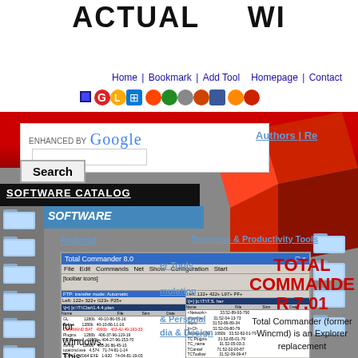ACTUAL WI - Home | Bookmark | Add Tool | Homepage | Contact
[Figure (screenshot): Website header with ACTUAL logo, red ball icon, navigation links, social media icons]
ENHANCED BY Google Search
Authors | Re
s | Submit
SOFTWARE CATALOG
SOFTWARE
Android
Business & Productivity Tools
[Figure (screenshot): Total Commander 7.01 application window screenshot showing dual-pane file manager interface]
TOTAL COMMANDER 7.01
Total Commander (former Wincmd) is an Explorer replacement for Windows. This is the 32